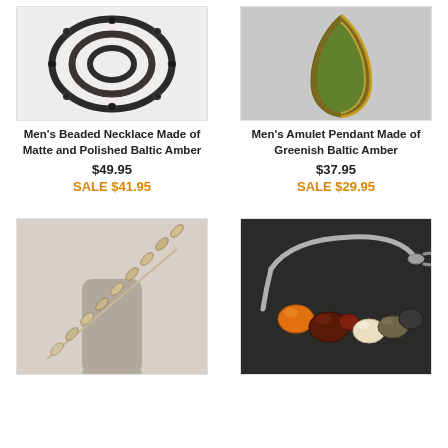[Figure (photo): Men's beaded necklace made of matte and polished dark/black Baltic amber beads, arranged in a coil]
[Figure (photo): Men's amulet pendant made of greenish Baltic amber, elongated horn/claw shape with gold-painted edge, on gray background]
Men's Beaded Necklace Made of Matte and Polished Baltic Amber
$49.95
SALE $41.95
Men's Amulet Pendant Made of Greenish Baltic Amber
$37.95
SALE $29.95
[Figure (photo): Men's necklace made of flat disc-shaped natural Baltic amber beads in cream/beige tones, displayed on a mannequin]
[Figure (photo): Bracelet with silver snake chain and multiple Baltic amber beads in various colors (orange, dark brown, cream, green), on dark background]